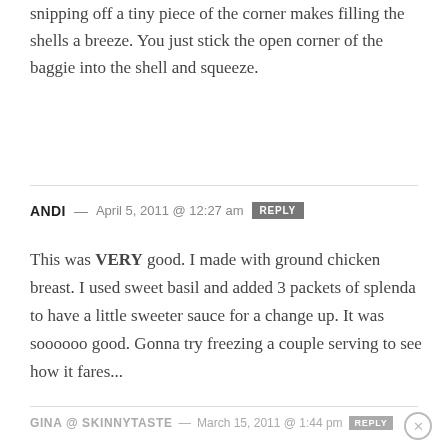snipping off a tiny piece of the corner makes filling the shells a breeze. You just stick the open corner of the baggie into the shell and squeeze.
ANDI — April 5, 2011 @ 12:27 am REPLY
This was VERY good. I made with ground chicken breast. I used sweet basil and added 3 packets of splenda to have a little sweeter sauce for a change up. It was soooooo good. Gonna try freezing a couple serving to see how it fares...
GINA @ SKINNYTASTE — March 15, 2011 @ 1:44 pm REPLY